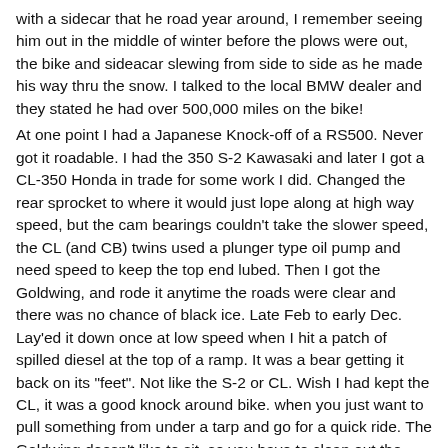with a sidecar that he road year around, I remember seeing him out in the middle of winter before the plows were out, the bike and sideacar slewing from side to side as he made his way thru the snow. I talked to the local BMW dealer and they stated he had over 500,000 miles on the bike! At one point I had a Japanese Knock-off of a RS500. Never got it roadable. I had the 350 S-2 Kawasaki and later I got a CL-350 Honda in trade for some work I did. Changed the rear sprocket to where it would just lope along at high way speed, but the cam bearings couldn't take the slower speed, the CL (and CB) twins used a plunger type oil pump and need speed to keep the top end lubed. Then I got the Goldwing, and rode it anytime the roads were clear and there was no chance of black ice. Late Feb to early Dec. Lay'ed it down once at low speed when I hit a patch of spilled diesel at the top of a ramp. It was a bear getting it back on its "feet". Not like the S-2 or CL. Wish I had kept the CL, it was a good knock around bike. when you just want to pull something from under a tarp and go for a quick ride. The Goldwing doesn't like to sit, so you have to clean out the small passages in carbs after it sits. The old CL would burn just about anything, once I put some paint thinner in it to get some gas in